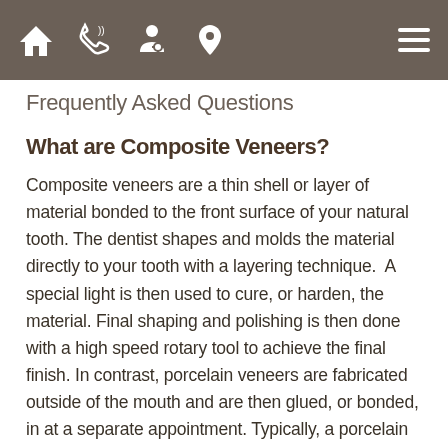Navigation bar with home, phone, doctor, location, and menu icons
Frequently Asked Questions
What are Composite Veneers?
Composite veneers are a thin shell or layer of material bonded to the front surface of your natural tooth. The dentist shapes and molds the material directly to your tooth with a layering technique.  A special light is then used to cure, or harden, the material. Final shaping and polishing is then done with a high speed rotary tool to achieve the final finish. In contrast, porcelain veneers are fabricated outside of the mouth and are then glued, or bonded, in at a separate appointment. Typically, a porcelain veneer has a higher fee due